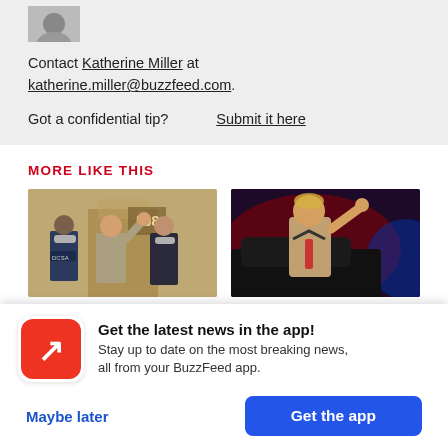[Figure (photo): Small circular avatar photo of a person, partially cropped at top]
Contact Katherine Miller at katherine.miller@buzzfeed.com.
Got a confidential tip?   Submit it here
MORE LIKE THIS
[Figure (photo): Photo of Steve Bannon with mask-wearing officials outside a building marked 500, waving to cameras]
[Figure (photo): Photo of Donald Trump waving from a car at night, illuminated by red and blue lights]
Get the latest news in the app! Stay up to date on the most breaking news, all from your BuzzFeed app.
Maybe later
Get the app